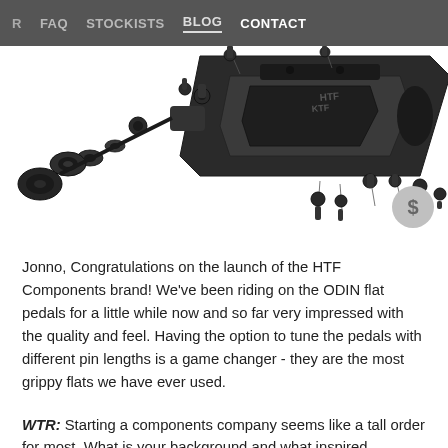FAQ  STOCKISTS  BLOG  CONTACT
[Figure (engineering-diagram): Exploded engineering diagram of the ODIN flat pedal showing the pedal body, axle, bearings, washers, and traction pins arranged in an exploded-view style on a white background.]
Jonno, Congratulations on the launch of the HTF Components brand! We've been riding on the ODIN flat pedals for a little while now and so far very impressed with the quality and feel. Having the option to tune the pedals with different pin lengths is a game changer - they are the most grippy flats we have ever used.
WTR: Starting a components company seems like a tall order for most. What is your background and what inspired